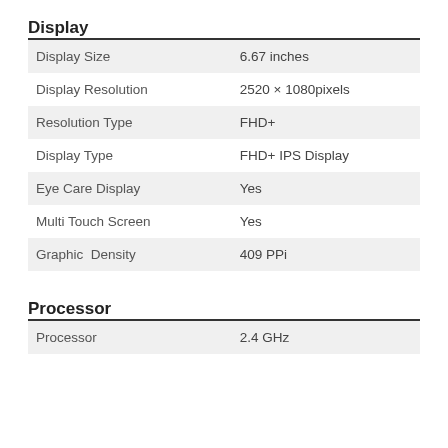Display
| Property | Value |
| --- | --- |
| Display Size | 6.67 inches |
| Display Resolution | 2520 × 1080pixels |
| Resolution Type | FHD+ |
| Display Type | FHD+ IPS Display |
| Eye Care Display | Yes |
| Multi Touch Screen | Yes |
| Graphic  Density | 409 PPi |
Processor
| Property | Value |
| --- | --- |
| Processor | 2.4 GHz |